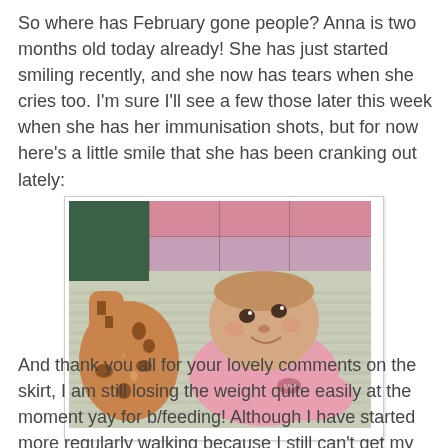So where has February gone people? Anna is two months old today already! She has just started smiling recently, and she now has tears when she cries too. I'm sure I'll see a few those later this week when she has her immunisation shots, but for now here's a little smile that she has been cranking out lately:
[Figure (photo): A baby girl in a pink outfit lying on a striped surface, looking up and slightly smiling, with a stuffed giraffe toy visible to the left and pink patterned fabric in the background.]
And thank you all for your lovely comments on the skirt, I am still losing the weight quite easily at the moment yay for b/feeding! Although I have started more regularly walking because I still can't get my pre pregnancy pants and skirts